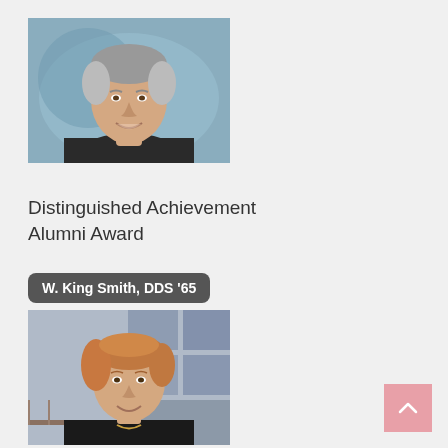[Figure (photo): Headshot of an older man with gray hair, smiling, wearing a dark suit, against a blue-gray background.]
Distinguished Achievement Alumni Award
W. King Smith, DDS '65
[Figure (photo): Headshot of a middle-aged woman with short reddish-blonde hair, smiling, wearing a black turtleneck with a gold necklace, against a building background.]